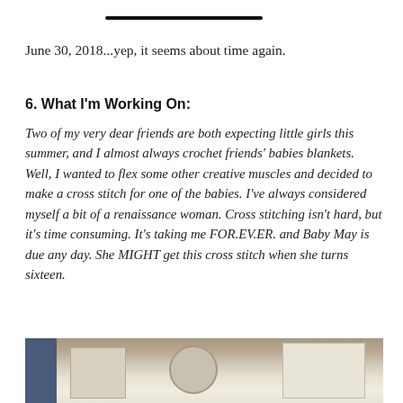June 30, 2018...yep, it seems about time again.
6. What I'm Working On:
Two of my very dear friends are both expecting little girls this summer, and I almost always crochet friends' babies blankets. Well, I wanted to flex some other creative muscles and decided to make a cross stitch for one of the babies. I've always considered myself a bit of a renaissance woman. Cross stitching isn't hard, but it's time consuming. It's taking me FOR.EV.ER. and Baby May is due any day. She MIGHT get this cross stitch when she turns sixteen.
[Figure (photo): A photograph showing a work desk or crafting area, with papers and items visible, partially cropped at the bottom of the page.]